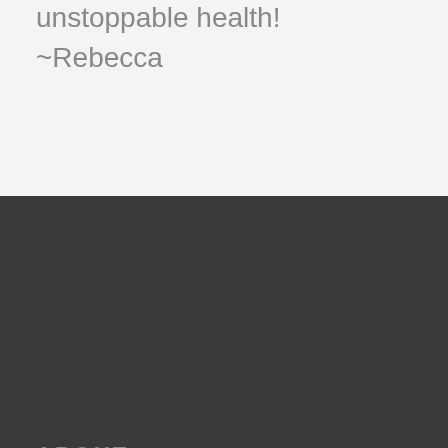unstoppable health!
~Rebecca
ABOUT
Rebecca Hazelton is a nutritionist and holistic health coach who works with people whose symptoms have stopped them from fully living. She helps them discover where their best health has been hiding so they can live longer, fuller lives. Learn more about what Rebecca has to offer by clicking the links above, checking out her videos,